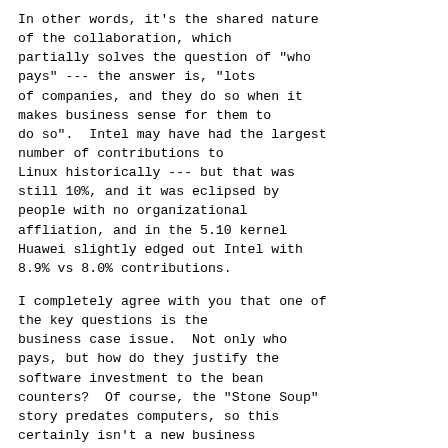In other words, it's the shared nature of the collaboration, which partially solves the question of "who pays" --- the answer is, "lots of companies, and they do so when it makes business sense for them to do so".  Intel may have had the largest number of contributions to Linux historically --- but that was still 10%, and it was eclipsed by people with no organizational affliation, and in the 5.10 kernel Huawei slightly edged out Intel with 8.9% vs 8.0% contributions.
I completely agree with you that one of the key questions is the business case issue.  Not only who pays, but how do they justify the software investment to the bean counters?  Of course, the "Stone Soup" story predates computers, so this certainly isn't a new business model.  And arguably the X Window Systems and the Open Software Foundation also had a similar model where multiple companies contributed to a common codebase, with perhaps mixed levels of success.